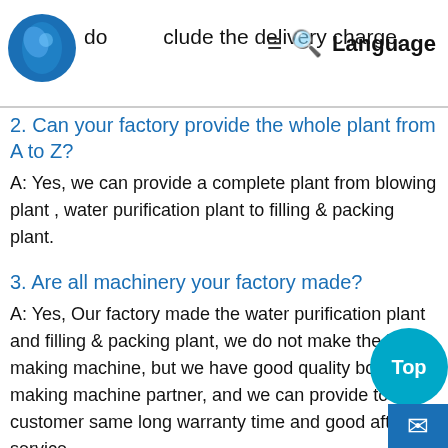do not include the delivery charge.
2. Can your factory provide the whole plant from A to Z?
A: Yes, we can provide a complete plant from blowing plant , water purification plant to filling & packing plant.
3. Are all machinery your factory made?
A: Yes, Our factory made the water purification plant and filling & packing plant, we do not make the bottle making machine, but we have good quality bottle making machine partner, and we can provide to customer same long warranty time and good after service.
4. How can I know the machinery quality before I order?
A: Firstly, we will invite you visiting our factory to cherk the